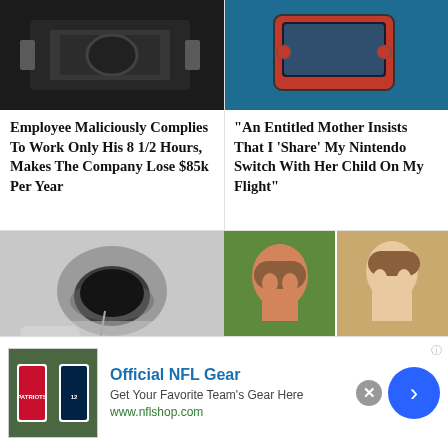[Figure (photo): Person working at industrial printing/rolling machine in dark workshop]
Employee Maliciously Complies To Work Only His 8 1/2 Hours, Makes The Company Lose $85k Per Year
[Figure (photo): Person holding Nintendo Switch gaming console]
"An Entitled Mother Insists That I 'Share' My Nintendo Switch With Her Child On My Flight"
[Figure (photo): Water draining down a sink drain, close-up of chrome drain]
20 Mistakes Made By...
[Figure (photo): Side-by-side of Tarzan animated character and a real-life lookalike young man with brown hair]
I Used AI To See What...
[Figure (photo): NFL jersey advertisement banner with Patriots jerseys]
Official NFL Gear
Get Your Favorite Team's Gear Here
www.nflshop.com